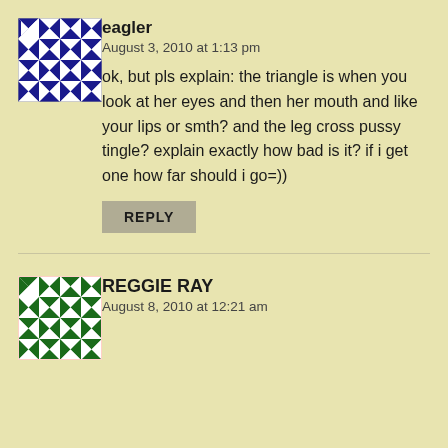[Figure (illustration): Blue and white geometric quilt-pattern avatar for user eagler]
eagler
August 3, 2010 at 1:13 pm
ok, but pls explain: the triangle is when you look at her eyes and then her mouth and like your lips or smth? and the leg cross pussy tingle? explain exactly how bad is it? if i get one how far should i go=))
REPLY
[Figure (illustration): Green and white geometric quilt-pattern avatar for user REGGIE RAY]
REGGIE RAY
August 8, 2010 at 12:21 am